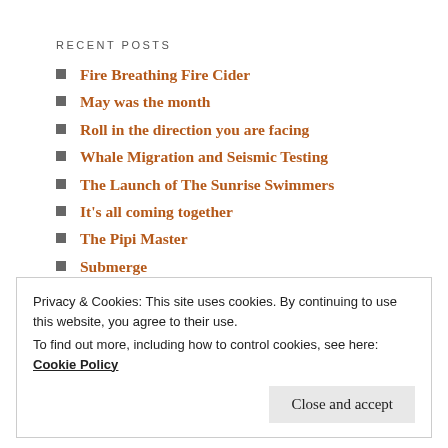RECENT POSTS
Fire Breathing Fire Cider
May was the month
Roll in the direction you are facing
Whale Migration and Seismic Testing
The Launch of The Sunrise Swimmers
It's all coming together
The Pipi Master
Submerge
Running with the season
The Sunrise Swimmers
Privacy & Cookies: This site uses cookies. By continuing to use this website, you agree to their use. To find out more, including how to control cookies, see here: Cookie Policy
Close and accept